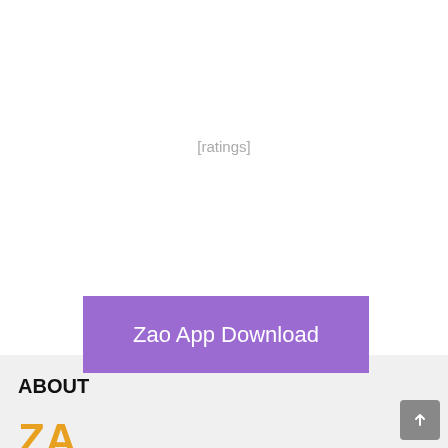[ratings]
Zao App Download
[ratings]
ABOUT
[Figure (logo): Zao app logo partial — orange/yellow letters ZA visible at bottom]